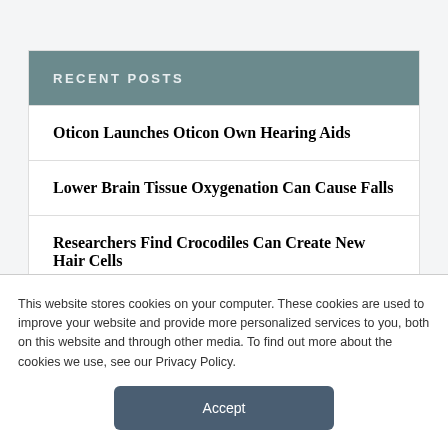RECENT POSTS
Oticon Launches Oticon Own Hearing Aids
Lower Brain Tissue Oxygenation Can Cause Falls
Researchers Find Crocodiles Can Create New Hair Cells
This website stores cookies on your computer. These cookies are used to improve your website and provide more personalized services to you, both on this website and through other media. To find out more about the cookies we use, see our Privacy Policy.
Accept